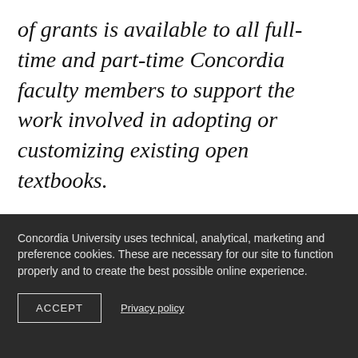of grants is available to all full-time and part-time Concordia faculty members to support the work involved in adopting or customizing existing open textbooks.
The deadline to apply is November 18, 2019.
Learn more about Open Educational Resources and consult the grant guidelines to
Concordia University uses technical, analytical, marketing and preference cookies. These are necessary for our site to function properly and to create the best possible online experience.
ACCEPT
Privacy policy